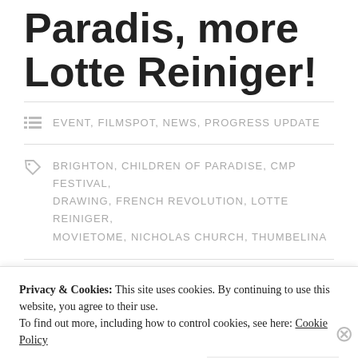Paradis, more Lotte Reiniger!
EVENT, FILMSPOT, NEWS, PROGRESS UPDATE
BRIGHTON, CHILDREN OF PARADISE, CMP FESTIVAL, DRAWING, FRENCH REVOLUTION, LOTTE REINIGER, MOVIETOME, NICHOLAS CHURCH, THUMBELINA
LEAVE A COMMENT
Privacy & Cookies: This site uses cookies. By continuing to use this website, you agree to their use.
To find out more, including how to control cookies, see here: Cookie Policy
Close and accept